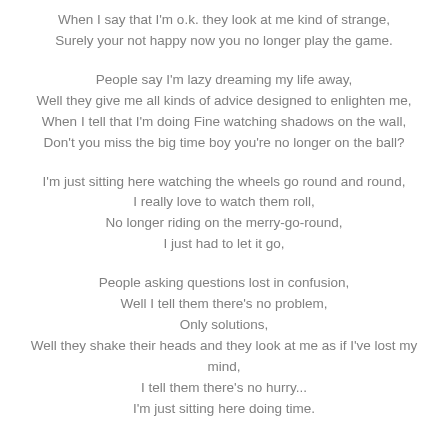When I say that I'm o.k. they look at me kind of strange,
Surely your not happy now you no longer play the game.
People say I'm lazy dreaming my life away,
Well they give me all kinds of advice designed to enlighten me,
When I tell that I'm doing Fine watching shadows on the wall,
Don't you miss the big time boy you're no longer on the ball?
I'm just sitting here watching the wheels go round and round,
I really love to watch them roll,
No longer riding on the merry-go-round,
I just had to let it go,
People asking questions lost in confusion,
Well I tell them there's no problem,
Only solutions,
Well they shake their heads and they look at me as if I've lost my mind,
I tell them there's no hurry...
I'm just sitting here doing time.